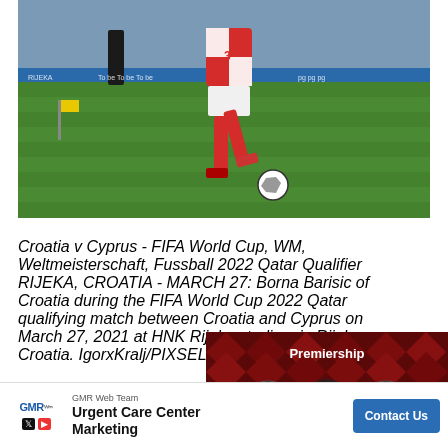[Figure (photo): A Croatian football player wearing red and white checkered jersey with number 3, running on a green grass field during a football match. A black and white football is on the ground in front of him. A referee in black is visible in the background.]
Croatia v Cyprus - FIFA World Cup, WM, Weltmeisterschaft, Fussball 2022 Qatar Qualifier RIJEKA, CROATIA - MARCH 27: Borna Barisic of Croatia during the FIFA World Cup 2022 Qatar qualifying match between Croatia and Cyprus on March 27, 2021 at HNK Rijeka stadium in Rijeka, Croatia. IgorxKralj/PIXSELL
[Figure (screenshot): Video overlay showing a Premiership match preview: Celtic vs Rangers at Celtic Park. Dark red geometric diamond background with team logos and a play button in the center.]
GMR Web Team Urgent Care Center Marketing — Contact Us